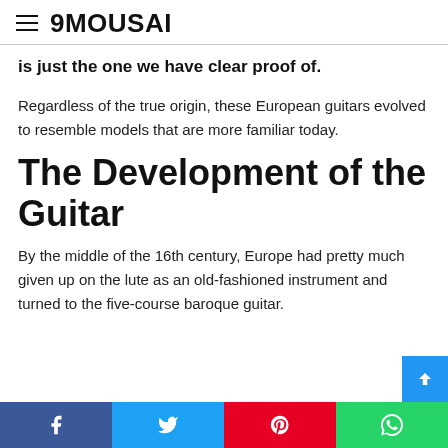9MOUSAI
is just the one we have clear proof of.
Regardless of the true origin, these European guitars evolved to resemble models that are more familiar today.
The Development of the Guitar
By the middle of the 16th century, Europe had pretty much given up on the lute as an old-fashioned instrument and turned to the five-course baroque guitar.